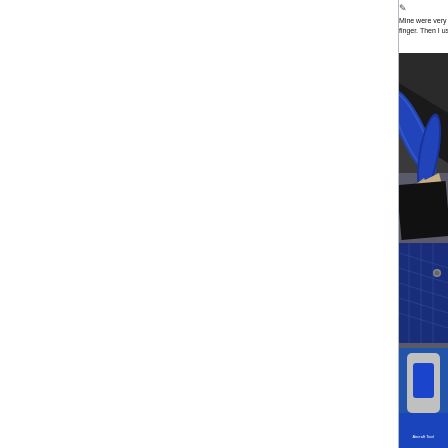Mine were very tight, too, but after a few remov... finger. Then I use my cleco pliers to pull them o...
[Figure (photo): Close-up photo of blue-handled cleco pliers gripping a black metal workpiece, with blue quilted material and an aircraft tool in the background.]